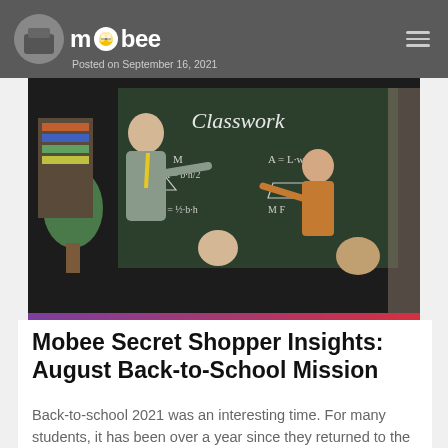mobee | Posted on September 16, 2021
[Figure (photo): Classroom scene with a teacher and student pointing at a blackboard with math formulas, and the word 'Classwork' written at the top.]
Mobee Secret Shopper Insights: August Back-to-School Mission
Back-to-school 2021 was an interesting time. For many students, it has been over a year since they returned to the classroom in